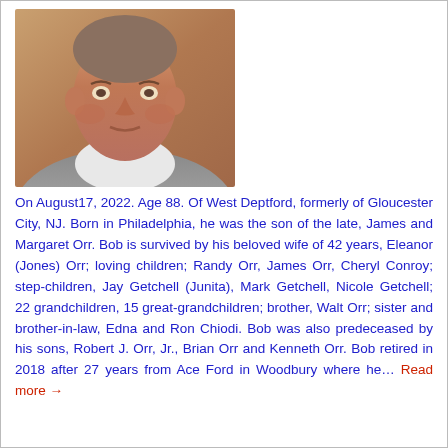[Figure (photo): Portrait photo of an elderly man with short hair, wearing a light-colored shirt and jacket, photographed from the shoulders up against a warm background.]
On August17, 2022. Age 88. Of West Deptford, formerly of Gloucester City, NJ. Born in Philadelphia, he was the son of the late, James and Margaret Orr. Bob is survived by his beloved wife of 42 years, Eleanor (Jones) Orr; loving children; Randy Orr, James Orr, Cheryl Conroy; step-children, Jay Getchell (Junita), Mark Getchell, Nicole Getchell; 22 grandchildren, 15 great-grandchildren; brother, Walt Orr; sister and brother-in-law, Edna and Ron Chiodi. Bob was also predeceased by his sons, Robert J. Orr, Jr., Brian Orr and Kenneth Orr. Bob retired in 2018 after 27 years from Ace Ford in Woodbury where he… Read more →